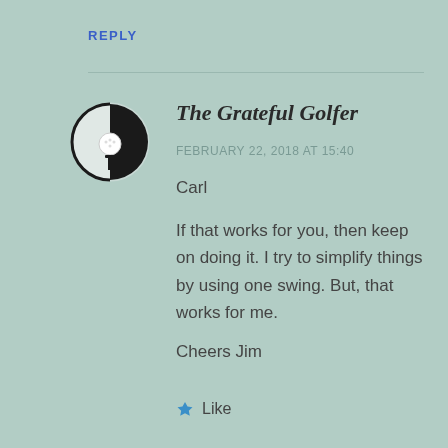REPLY
[Figure (logo): The Grateful Golfer logo: a circular icon with a golf ball on a tee, black and white]
The Grateful Golfer
FEBRUARY 22, 2018 AT 15:40
Carl
If that works for you, then keep on doing it. I try to simplify things by using one swing. But, that works for me.
Cheers Jim
Like